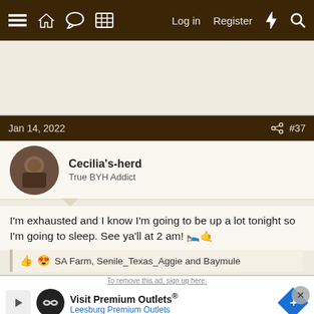Navigation bar with menu, home, chat, grid icons, Log in, Register, bolt, search
[Figure (other): Advertisement banner space (blank/gray area)]
Jan 14, 2022   #37
Cecilia's-herd
True BYH Addict
I'm exhausted and I know I'm going to be up a lot tonight so I'm going to sleep. See ya'll at 2 am! 🛌🤚
👍 😍 SA Farm, Senile_Texas_Aggie and Baymule
Jan 14, 2022   #38
[Figure (screenshot): Advertisement overlay: Visit Premium Outlets® Leesburg Premium Outlets with logo and navigation icon]